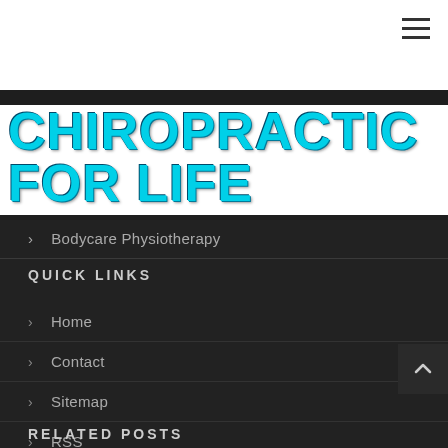[Figure (logo): Hamburger menu icon (three horizontal lines) in top-right corner]
CHIROPRACTIC FOR LIFE
Bodycare Physiotherapy
QUICK LINKS
Home
Contact
Sitemap
RSS
RELATED POSTS